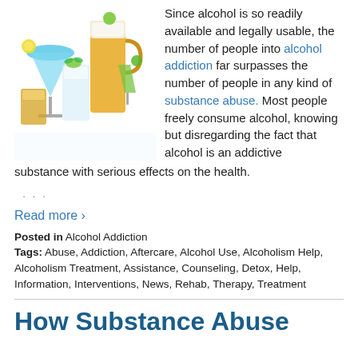[Figure (photo): Collection of various alcoholic beverages including a blue martini, tall beer glass, cocktail with ice and lime, whiskey glass, and green cocktail garnished with lime slices.]
Since alcohol is so readily available and legally usable, the number of people into alcohol addiction far surpasses the number of people in any kind of substance abuse. Most people freely consume alcohol, knowing but disregarding the fact that alcohol is an addictive substance with serious effects on the health.
· · ·
Read more ›
Posted in Alcohol Addiction
Tags: Abuse, Addiction, Aftercare, Alcohol Use, Alcoholism Help, Alcoholism Treatment, Assistance, Counseling, Detox, Help, Information, Interventions, News, Rehab, Therapy, Treatment
How Substance Abuse